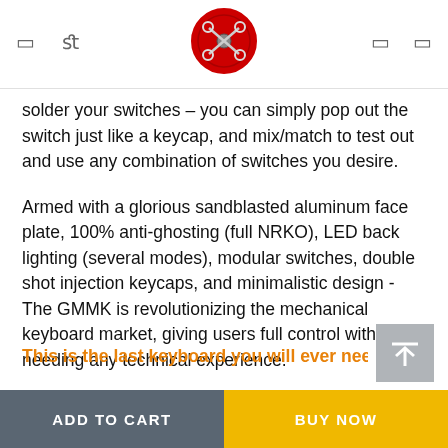[Navigation header with logo and icons]
solder your switches – you can simply pop out the switch just like a keycap, and mix/match to test out and use any combination of switches you desire.
Armed with a glorious sandblasted aluminum face plate, 100% anti-ghosting (full NRKO), LED back lighting (several modes), modular switches, double shot injection keycaps, and minimalistic design - The GMMK is revolutionizing the mechanical keyboard market, giving users full control without needing any technical experience.
This is the last keyboard you will ever need to b
< 5 seconds to replace a switch  Easily remove keycaps & switches
ADD TO CART | BUY NOW